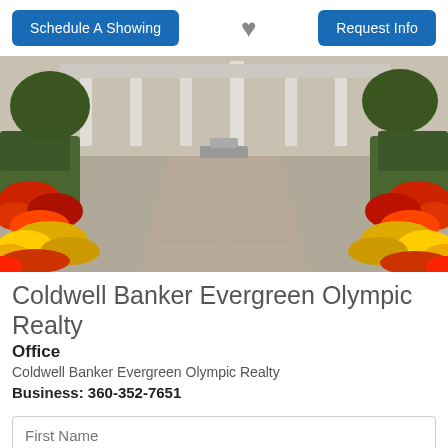Schedule A Showing
♥
Request Info
[Figure (photo): Exterior photo of a building with a brick walkway flanked by colorful flower beds (red, orange, yellow) with hedges and columns in the background.]
Coldwell Banker Evergreen Olympic Realty
Office
Coldwell Banker Evergreen Olympic Realty
Business: 360-352-7651
First Name